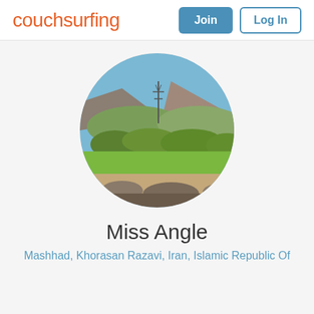[Figure (logo): Couchsurfing logo in orange handwritten style font]
Join
Log In
[Figure (photo): Circular profile photo showing a landscape with green fields, shrubs, mountains, blue sky, and a power transmission tower]
Miss Angle
Mashhad, Khorasan Razavi, Iran, Islamic Republic Of